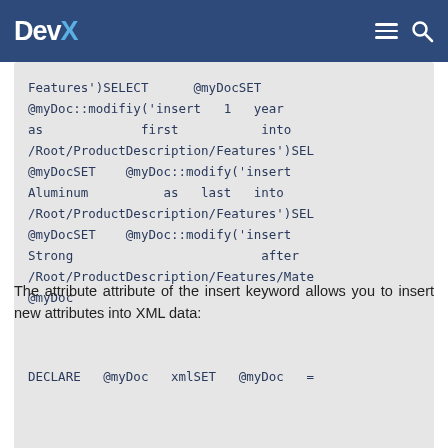DevX
Features')SELECT @myDocSET @myDoc::modifiy('insert 1 year as first into /Root/ProductDescription/Features')SEL @myDocSET @myDoc::modify('insert Aluminum as last into /Root/ProductDescription/Features')SEL @myDocSET @myDoc::modify('insert Strong after /Root/ProductDescription/Features/Mate @myDoc
The attribute attribute of the insert keyword allows you to insert new attributes into XML data:
DECLARE @myDoc xmlSET @myDoc =